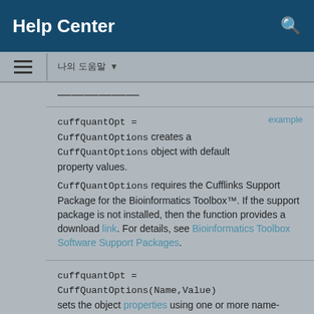Help Center
Description
cuffquantOpt = CuffQuantOptions creates a CuffQuantOptions object with default property values. CuffQuantOptions requires the Cufflinks Support Package for the Bioinformatics Toolbox™. If the support package is not installed, then the function provides a download link. For details, see Bioinformatics Toolbox Software Support Packages.
cuffquantOpt = CuffQuantOptions(Name,Value) sets the object properties using one or more name-value pair arguments. Enclose each property name in quotes.